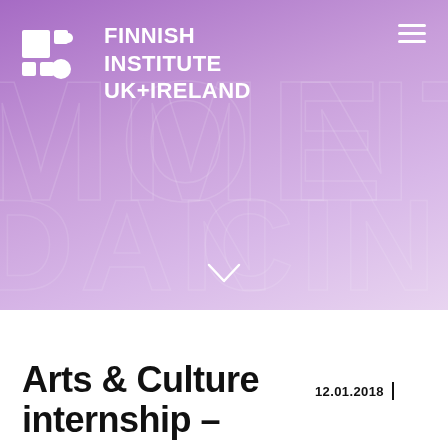[Figure (illustration): Finnish Institute UK + Ireland website hero banner with purple gradient background, logo with geometric icon on top-left, hamburger menu icon on top-right, decorative large outlined letters in background, and a chevron arrow at the bottom center.]
Arts & Culture internship –
12.01.2018